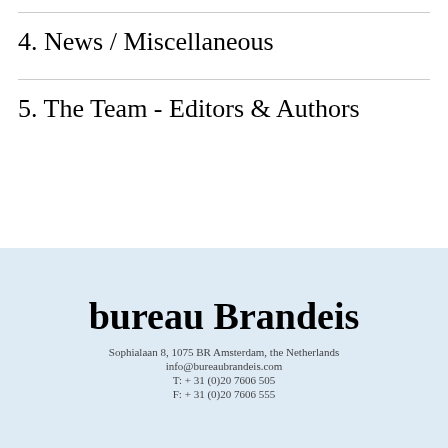4. News / Miscellaneous
5. The Team - Editors & Authors
bureau Brandeis
Sophialaan 8, 1075 BR Amsterdam, the Netherlands
info@bureaubrandeis.com
T: + 31 (0)20 7606 505
F: + 31 (0)20 7606 555